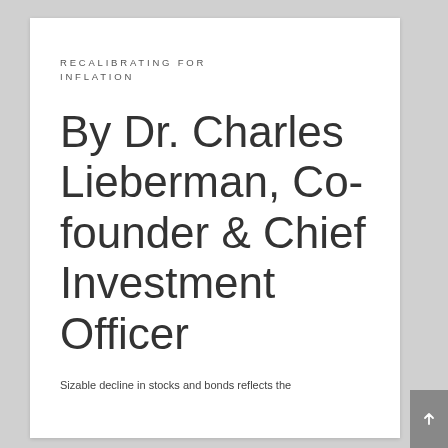RECALIBRATING FOR INFLATION
By Dr. Charles Lieberman, Co-founder & Chief Investment Officer
Sizable decline in stocks and bonds reflects the